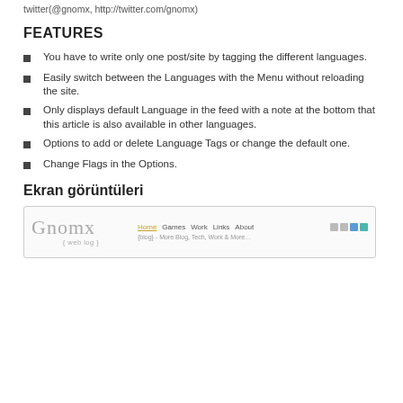twitter(@gnomx, http://twitter.com/gnomx)
FEATURES
You have to write only one post/site by tagging the different languages.
Easily switch between the Languages with the Menu without reloading the site.
Only displays default Language in the feed with a note at the bottom that this article is also available in other languages.
Options to add or delete Language Tags or change the default one.
Change Flags in the Options.
Ekran görüntüleri
[Figure (screenshot): Screenshot of the Gnomx web log site showing the site logo on the left and navigation menu (Home, Games, Work, Links, About) on the right with social icons.]